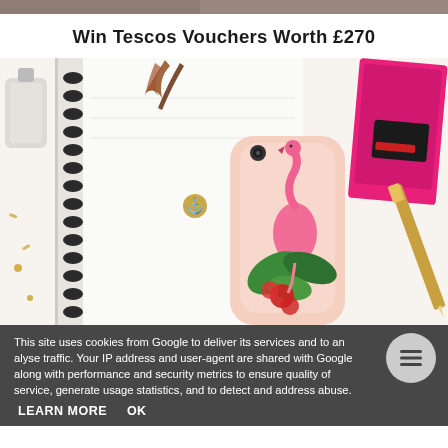[Figure (photo): Top strip showing a partial background image]
Win Tescos Vouchers Worth £270
[Figure (photo): Flat lay photo showing a spiral notebook with black binding, a flamingo-themed iPhone case, a gold anchor charm, a pink notebook, a pencil, and a perfume bottle on a white surface]
This site uses cookies from Google to deliver its services and to analyse traffic. Your IP address and user-agent are shared with Google along with performance and security metrics to ensure quality of service, generate usage statistics, and to detect and address abuse.
LEARN MORE   OK